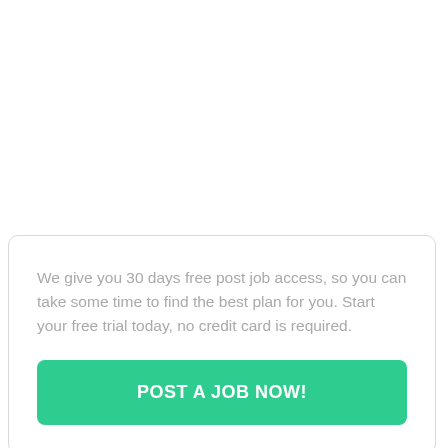We give you 30 days free post job access, so you can take some time to find the best plan for you. Start your free trial today, no credit card is required.
POST A JOB NOW!